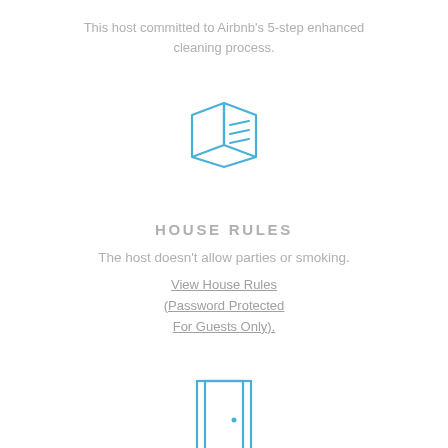This host committed to Airbnb's 5-step enhanced cleaning process.
[Figure (illustration): Open book icon drawn in blue outline style]
HOUSE RULES
The host doesn't allow parties or smoking.
View House Rules (Password Protected For Guests Only).
[Figure (illustration): Door icon drawn in blue outline style]
SELF CHECK-IN